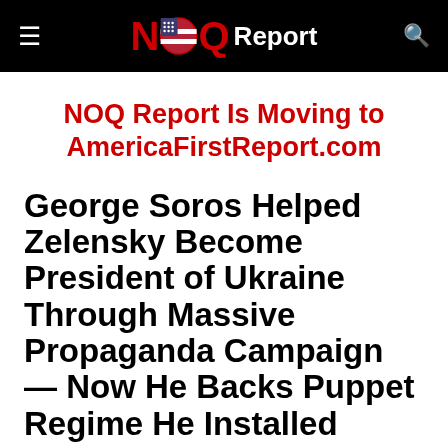NOQ Report
NOQ Report Is Moving to AmericaFirstReport.com
George Soros Helped Zelensky Become President of Ukraine Through Massive Propaganda Campaign — Now He Backs Puppet Regime He Installed